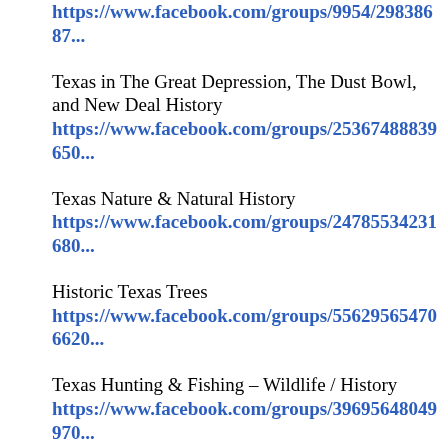https://www.facebook.com/groups/9954/29838687...
Texas in The Great Depression, The Dust Bowl, and New Deal History
https://www.facebook.com/groups/25367488839650...
Texas Nature & Natural History
https://www.facebook.com/groups/24785534231680...
Historic Texas Trees
https://www.facebook.com/groups/556295654706620...
Texas Hunting & Fishing – Wildlife / History
https://www.facebook.com/groups/39695648049970...
Texas Scouting History
https://www.facebook.com/groups/41321672904794...